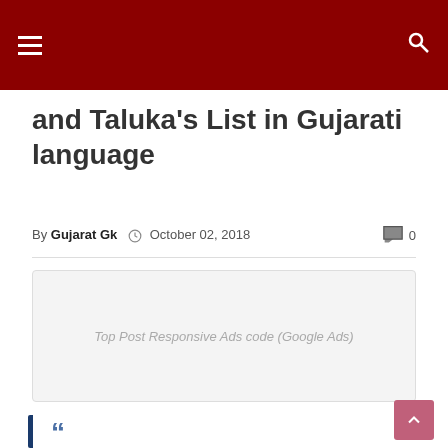and Taluka's List in Gujarati language
By Gujarat Gk  October 02, 2018  0
[Figure (other): Top Post Responsive Ads code (Google Ads)]
Gujarat 33 Districts Head Quarters and Taluka's List in Gujarati language